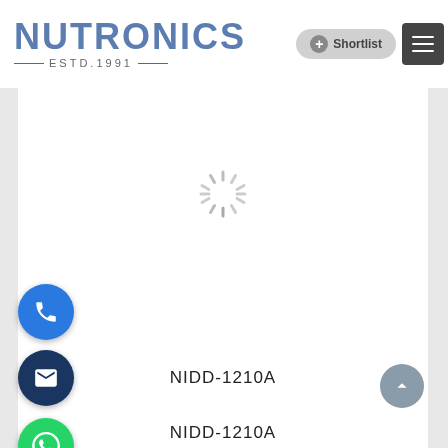[Figure (logo): NUTRONICS logo in blue bold letters with ESTD.1991 below]
[Figure (screenshot): Shortlist button and hamburger menu in header]
[Figure (illustration): Loading spinner (circular dashed loader) in white product image area]
NIDD-1210A
NIDD-1210A
[Figure (illustration): Blue phone FAB button, dark blue email FAB button, green WhatsApp FAB button, grey scroll-to-top button]